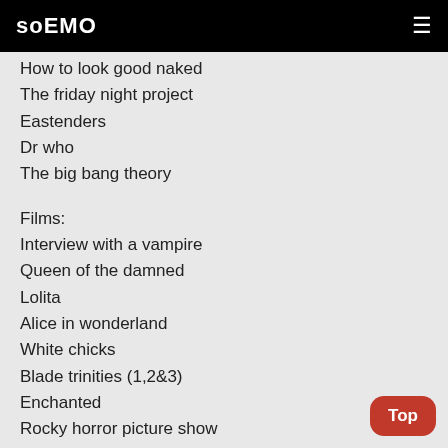soEMO
How to look good naked
The friday night project
Eastenders
Dr who
The big bang theory
Films:
Interview with a vampire
Queen of the damned
Lolita
Alice in wonderland
White chicks
Blade trinities (1,2&3)
Enchanted
Rocky horror picture show
The producers
and more to come! Lolita - Vladimir Nabokov
Girl with a oen track mind - Abby Lee
Alice in wonderland - Lewis Caroll